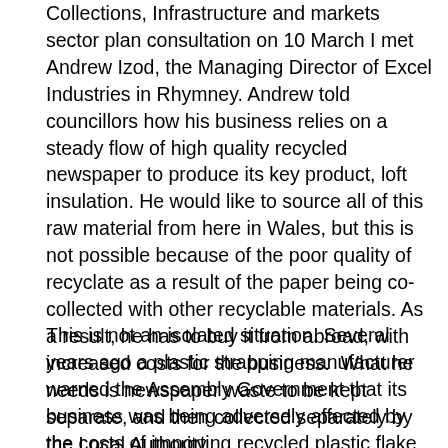Collections, Infrastructure and markets sector plan consultation on 10 March I met Andrew Izod, the Managing Director of Excel Industries in Rhymney. Andrew told councillors how his business relies on a steady flow of high quality recycled newspaper to produce its key product, loft insulation. He would like to source all of this raw material from here in Wales, but this is not possible because of the poor quality of recyclate as a result of the paper being co-collected with other recyclable materials. As a result, he has to buy it from abroad, with increased costs for the business.  What he needs is newspaper waste to be kept separate, and then collected separately by the Local Authority.
This is not an isolated situation. Several years ago a plastic strapping manufacturer warned the Assembly Government that its business was being adversely affected by the costs of importing recycled plastic flake from overseas. At the same